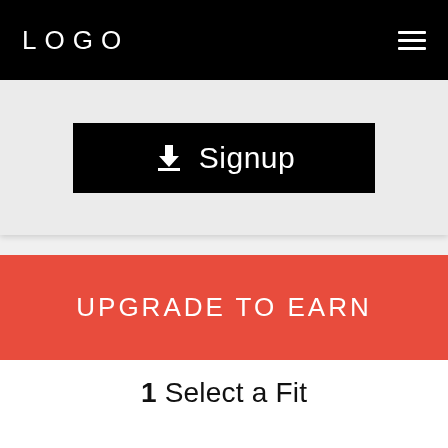LOGO
[Figure (screenshot): Signup button with download icon on dark background, within a light gray card area]
UPGRADE TO EARN
1 Select a Fit
1 Back Office